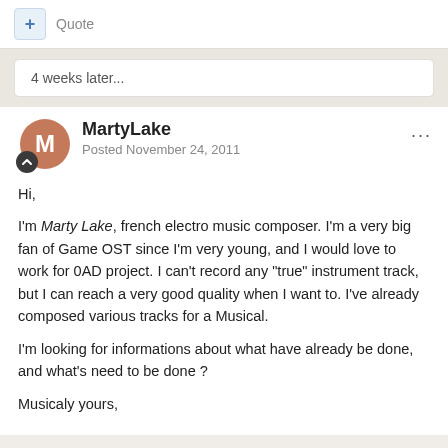+ Quote
4 weeks later...
MartyLake
Posted November 24, 2011
Hi,

I'm Marty Lake, french electro music composer. I'm a very big fan of Game OST since I'm very young, and I would love to work for 0AD project. I can't record any "true" instrument track, but I can reach a very good quality when I want to. I've already composed various tracks for a Musical.

I'm looking for informations about what have already be done, and what's need to be done ?

Musicaly yours,